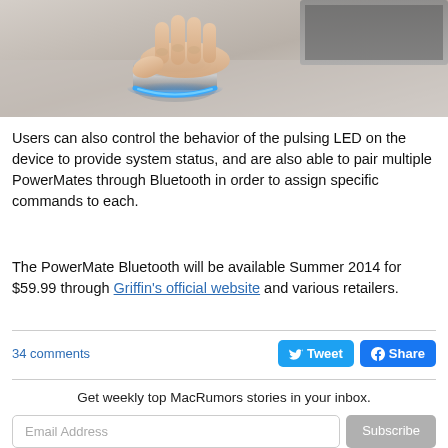[Figure (photo): Hand using a cylindrical metallic Bluetooth device (PowerMate) with a blue LED glow on a desk surface, with a laptop visible in the background]
Users can also control the behavior of the pulsing LED on the device to provide system status, and are also able to pair multiple PowerMates through Bluetooth in order to assign specific commands to each.
The PowerMate Bluetooth will be available Summer 2014 for $59.99 through Griffin's official website and various retailers.
34 comments
Tweet
Share
Get weekly top MacRumors stories in your inbox.
Email Address
Subscribe